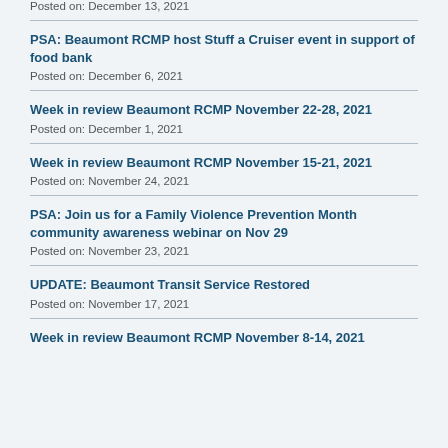Posted on: December 13, 2021
PSA: Beaumont RCMP host Stuff a Cruiser event in support of food bank
Posted on: December 6, 2021
Week in review Beaumont RCMP November 22-28, 2021
Posted on: December 1, 2021
Week in review Beaumont RCMP November 15-21, 2021
Posted on: November 24, 2021
PSA: Join us for a Family Violence Prevention Month community awareness webinar on Nov 29
Posted on: November 23, 2021
UPDATE: Beaumont Transit Service Restored
Posted on: November 17, 2021
Week in review Beaumont RCMP November 8-14, 2021